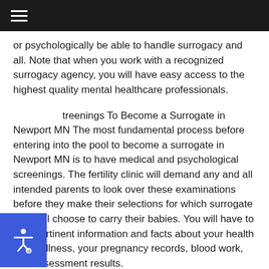or psychologically be able to handle surrogacy and all. Note that when you work with a recognized surrogacy agency, you will have easy access to the highest quality mental healthcare professionals.
Screenings To Become a Surrogate in Newport MN The most fundamental process before entering into the pool to become a surrogate in Newport MN is to have medical and psychological screenings. The fertility clinic will demand any and all intended parents to look over these examinations before they make their selections for which surrogate they will choose to carry their babies. You will have to give pertinent information and facts about your health and wellness, your pregnancy records, blood work, and assessment results.
[dyna dynami="Template 6"]
As far as the mental health screening goes, you will